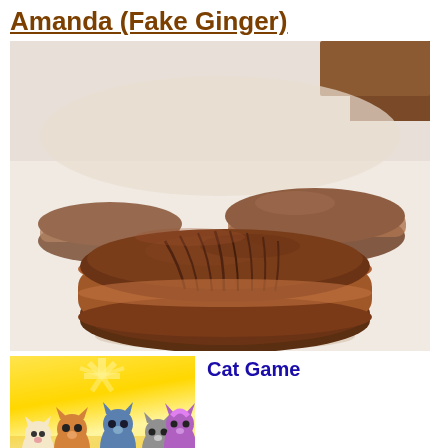Amanda (Fake Ginger)
[Figure (photo): Close-up photo of chocolate whoopie pie sandwich cookies with chocolate frosting drizzled on top, on a white surface. Multiple cookies visible, with the front one in sharp focus showing thick chocolate cream filling.]
[Figure (photo): Advertisement image for Cat Game showing cartoon cat characters in front of a yellow sunburst background. Title reads Cat Game in bold blue text. Label 'Ad' below.]
Cat Game
Ad